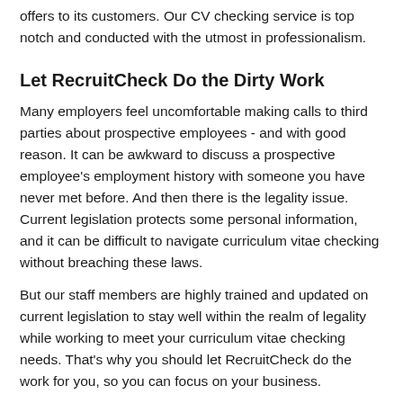offers to its customers. Our CV checking service is top notch and conducted with the utmost in professionalism.
Let RecruitCheck Do the Dirty Work
Many employers feel uncomfortable making calls to third parties about prospective employees - and with good reason. It can be awkward to discuss a prospective employee's employment history with someone you have never met before. And then there is the legality issue. Current legislation protects some personal information, and it can be difficult to navigate curriculum vitae checking without breaching these laws.
But our staff members are highly trained and updated on current legislation to stay well within the realm of legality while working to meet your curriculum vitae checking needs. That's why you should let RecruitCheck do the work for you, so you can focus on your business.
Make Us Your Top Choice for High-Quality Results
As you can see, making RecruitCheck your number one provider for curriculum vitae checking is a great business plan. We offer cutting edge service with great, detailed results. If you are interested in